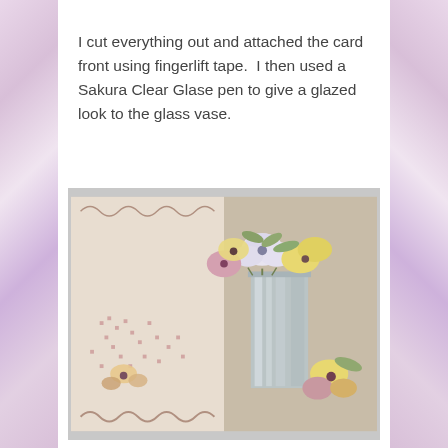I cut everything out and attached the card front using fingerlift tape.  I then used a Sakura Clear Glase pen to give a glazed look to the glass vase.
[Figure (photo): Close-up photo of a handmade card featuring paper-cut pansy flowers in pink, yellow and purple arranged in a silver/mirrored vase, with a floral patterned card front in the background.]